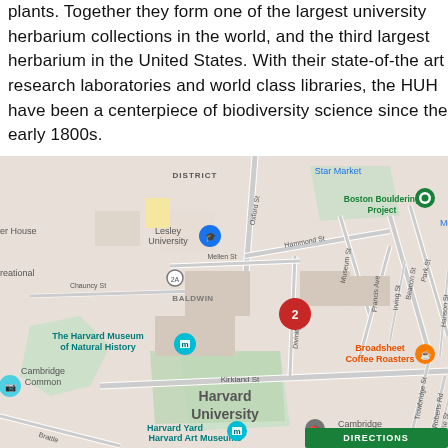plants. Together they form one of the largest university herbarium collections in the world, and the third largest herbarium in the United States. With their state-of-the art research laboratories and world class libraries, the HUH have been a centerpiece of biodiversity science since the early 1800s.
[Figure (map): Google Maps screenshot showing Harvard University area in Cambridge, MA, with markers for The Harvard Museum of Natural History, Harvard Art Museums, Harvard Yard, Cambridge Common, Lesley University, Boston Bouldering Project, Broadsheet Coffee Roasters, Cambridge Public Library, and a red pin labeled '2' near Divinity Ave. Streets visible include Oxford St, Hammond St, Museum St, Francis Ave, Kirkland St, Beacon St, Park St, and others.]